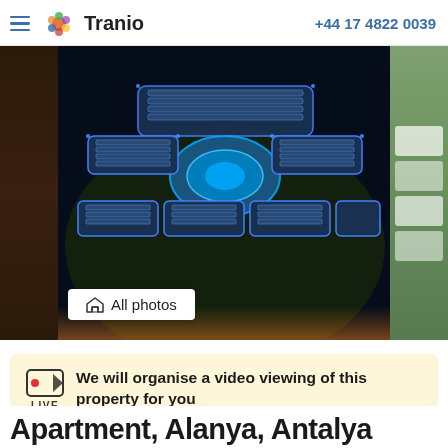Tranio | +44 17 4822 0039
[Figure (photo): Aerial night view of a large luxury resort complex with illuminated blue LED outlines on buildings, central courtyard with pools, surrounded by dark landscape. Side panels show partial views of other property photos.]
All photos
We will organise a video viewing of this property for you
Sign up for a viewing
Apartment, Alanya, Antalya